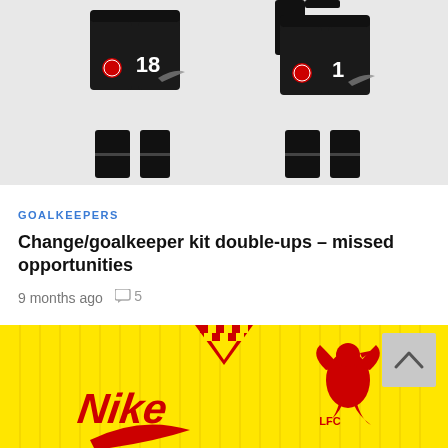[Figure (illustration): Manchester United goalkeeper kits displayed on a grey background. Two kit sets showing black shorts with number 18 and number 1, with Manchester United badge and Nike swoosh. Four black socks at the bottom.]
GOALKEEPERS
Change/goalkeeper kit double-ups – missed opportunities
9 months ago  5
[Figure (photo): Yellow Liverpool FC goalkeeper kit with Nike logo in red on left and Liverpool FC liver bird crest in red on right. Yellow pinstripe pattern with a checkered V-neck collar visible at top center. LFC text visible at bottom right.]